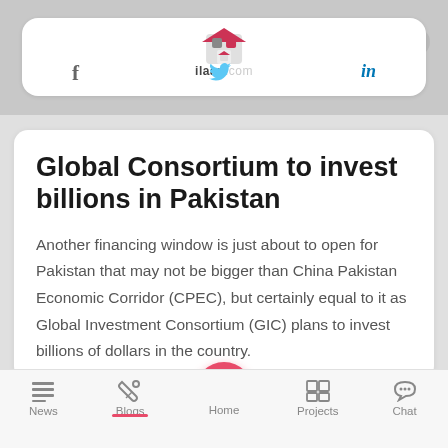[Figure (logo): ilaan.com real estate website logo with house icon in red/pink and grey]
Global Consortium to invest billions in Pakistan
Another financing window is just about to open for Pakistan that may not be bigger than China Pakistan Economic Corridor (CPEC), but certainly equal to it as Global Investment Consortium (GIC) plans to invest billions of dollars in the country.
The Global Investment Consortium is considering to invest up to €50 billion in a public-private partnership
News   Blogs   Home   Projects   Chat